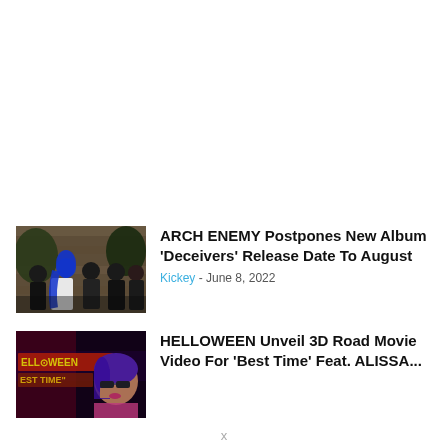[Figure (photo): Band photo of Arch Enemy - group of dark-clothed musicians, one with blue hair]
ARCH ENEMY Postpones New Album ‘Deceivers’ Release Date To August
Kickey - June 8, 2022
[Figure (photo): Helloween Best Time video thumbnail - person with sunglasses, purple hair, neon signs]
HELLOWEEN Unveil 3D Road Movie Video For ‘Best Time’ Feat. ALISSA...